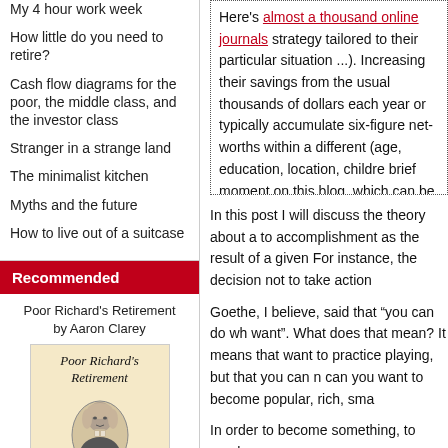My 4 hour work week
How little do you need to retire?
Cash flow diagrams for the poor, the middle class, and the investor class
Stranger in a strange land
The minimalist kitchen
Myths and the future
How to live out of a suitcase
Recommended
Poor Richard's Retirement by Aaron Clarey
[Figure (illustration): Book cover of Poor Richard's Retirement showing title text and an oval portrait illustration of Benjamin Franklin in period clothing]
Here's almost a thousand online journals strategy tailored to their particular situation ...). Increasing their savings from the usual thousands of dollars each year or typically accumulate six-figure net-worths within a different (age, education, location, children brief moment on this blog, which can be f delving into the forum journals and looking situation.
In this post I will discuss the theory about a to accomplishment as the result of a given For instance, the decision not to take action
Goethe, I believe, said that “you can do wh want”. What does that mean? It means that want to practice playing, but that you can n can you want to become popular, rich, sma
In order to become something, to reach a g